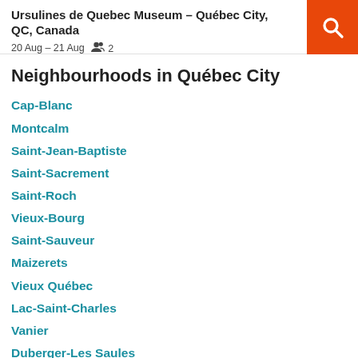Ursulines de Quebec Museum – Québec City, QC, Canada
20 Aug – 21 Aug  2
Neighbourhoods in Québec City
Cap-Blanc
Montcalm
Saint-Jean-Baptiste
Saint-Sacrement
Saint-Roch
Vieux-Bourg
Saint-Sauveur
Maizerets
Vieux Québec
Lac-Saint-Charles
Vanier
Duberger-Les Saules
Saint-Louis
Cité Universitaire
Plateau